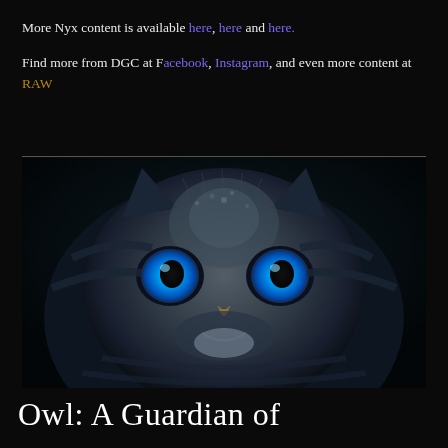More Nyx content is available here, here and here.
Find more from DGC at Facebook, Instagram, and even more content at RAW
[Figure (photo): Close-up photograph of an owl's face with striking bright blue eyes against a dark black background. The owl has detailed grey and dark feather patterns.]
Owl: A Guardian of